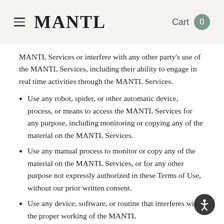MANTL   Cart 0
MANTL Services or interfere with any other party's use of the MANTL Services, including their ability to engage in real time activities through the MANTL Services.
Use any robot, spider, or other automatic device, process, or means to access the MANTL Services for any purpose, including monitoring or copying any of the material on the MANTL Services.
Use any manual process to monitor or copy any of the material on the MANTL Services, or for any other purpose not expressly authorized in these Terms of Use, without our prior written consent.
Use any device, software, or routine that interferes with the proper working of the MANTL Services.